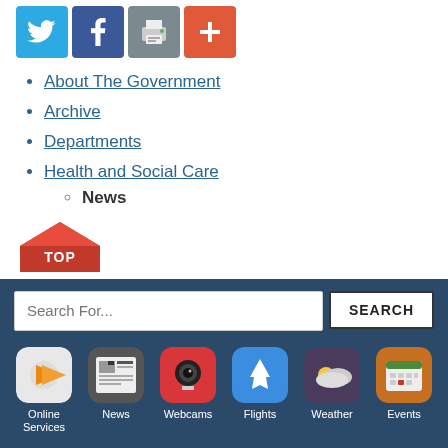[Figure (other): Social share buttons: Twitter (blue), Facebook (dark blue), Print (grey), Plus/Add (orange-red)]
About The Government
Archive
Departments
Health and Social Care
News (sub-item, bold)
[Figure (other): Red 'TOP' button shaped like a house/arrow pointing up]
[Figure (other): Footer bar with search field, SEARCH button, and six app icons: Online Services, News, Webcams, Flights, Weather, Events]